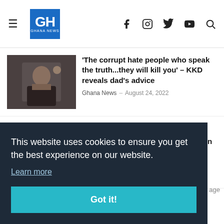GH GHANA NEWS
[Figure (photo): Man in black traditional wear waving]
'The corrupt hate people who speak the truth...they will kill you' – KKD reveals dad's advice
Ghana News  –  August 24, 2022
Politics
[Figure (photo): Three people standing together posing for a photo]
Uplift 2022 Conference to be held on September 1 in Accra
Ghana News  –  August 24, 2022
This website uses cookies to ensure you get the best experience on our website.
Learn more
Got it!